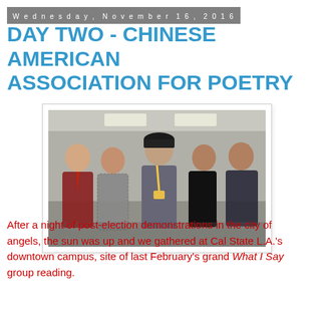Wednesday, November 16, 2016
DAY TWO - CHINESE AMERICAN ASSOCIATION FOR POETRY
[Figure (photo): Group photo of five people standing together indoors in what appears to be a conference or campus setting. From left to right: an older man in a red/maroon jacket, a woman in a patterned dress, a tall man in a grey shirt and black cap, an Asian woman in black, and an older Asian man in dark clothing.]
After a night of post-election demonstrations in the city of angels, the sun was up and we gathered at Cal State L.A.'s downtown campus, site of last February's grand What I Say group reading.